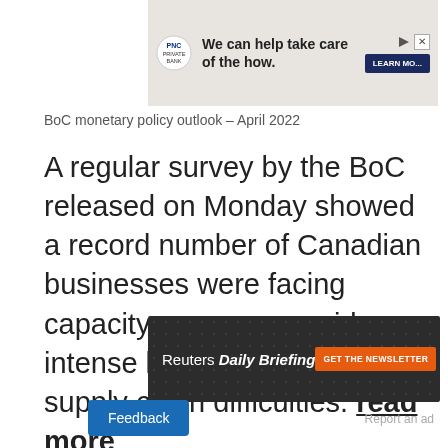[Figure (other): PNC Private Bank advertisement banner with logo and 'We can help take care of the how.' text and LEARN MORE button]
BoC monetary policy outlook - April 2022
A regular survey by the BoC released on Monday showed a record number of Canadian businesses were facing capacity pressures amid intense labor shortages and supply chain difficulties. read more
Advertisement · Scroll to continue
[Figure (other): Reuters Daily Briefing advertisement with GET THE NEWSLETTER button]
Report an ad
Feedback